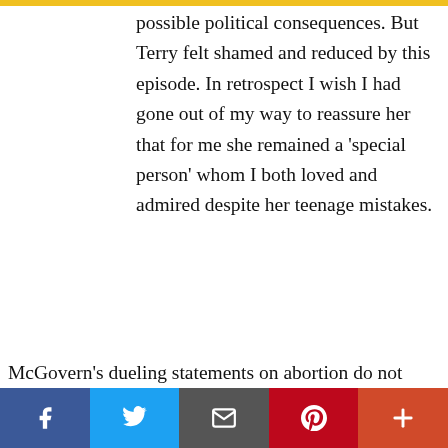possible political consequences. But Terry felt shamed and reduced by this episode. In retrospect I wish I had gone out of my way to reassure her that for me she remained a 'special person' whom I both loved and admired despite her teenage mistakes.
McGovern's dueling statements on abortion do not reflect well on his intellectual integrity. Publicly, he
We use cookies on our website to give you the most relevant experience by remembering your preferences and repeat visits. By clicking "Accept All", you consent to the use of ALL the cookies. However, you may visit "Cookie Settings" to provide a controlled consent.